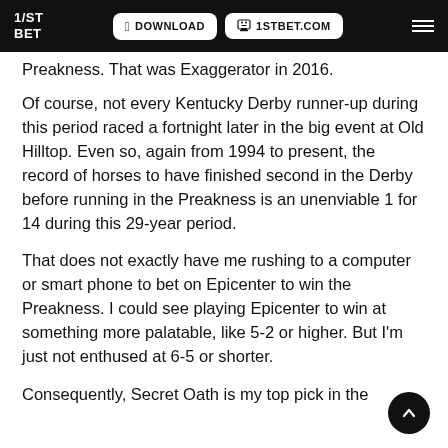1/ST BET | DOWNLOAD | 1STBET.COM
Preakness. That was Exaggerator in 2016.
Of course, not every Kentucky Derby runner-up during this period raced a fortnight later in the big event at Old Hilltop. Even so, again from 1994 to present, the record of horses to have finished second in the Derby before running in the Preakness is an unenviable 1 for 14 during this 29-year period.
That does not exactly have me rushing to a computer or smart phone to bet on Epicenter to win the Preakness. I could see playing Epicenter to win at something more palatable, like 5-2 or higher. But I'm just not enthused at 6-5 or shorter.
Consequently, Secret Oath is my top pick in the